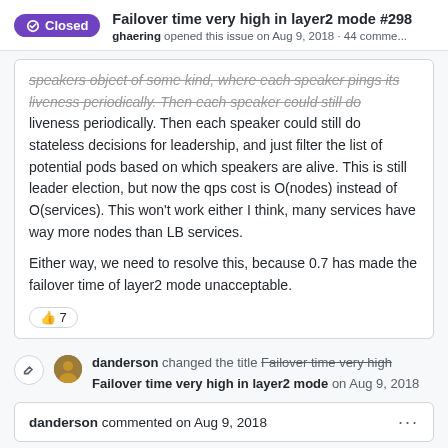Closed  Failover time very high in layer2 mode #298  ghaering opened this issue on Aug 9, 2018 · 44 comme...
speakers object of some kind, where each speaker pings its liveness periodically. Then each speaker could still do stateless decisions for leadership, and just filter the list of potential pods based on which speakers are alive. This is still leader election, but now the qps cost is O(nodes) instead of O(services). This won't work either I think, many services have way more nodes than LB services.

Either way, we need to resolve this, because 0.7 has made the failover time of layer2 mode unacceptable.
👍 7
danderson changed the title Failover time very high  Failover time very high in layer2 mode on Aug 9, 2018
danderson commented on Aug 9, 2018